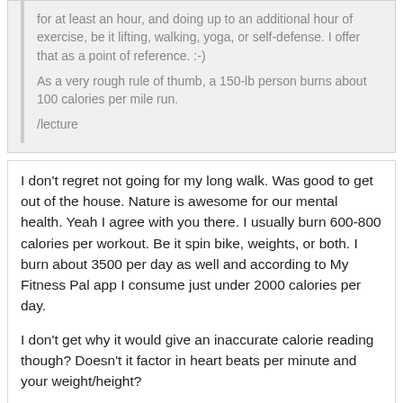for at least an hour, and doing up to an additional hour of exercise, be it lifting, walking, yoga, or self-defense. I offer that as a point of reference. :-)
As a very rough rule of thumb, a 150-lb person burns about 100 calories per mile run.
/lecture
I don't regret not going for my long walk. Was good to get out of the house. Nature is awesome for our mental health. Yeah I agree with you there. I usually burn 600-800 calories per workout. Be it spin bike, weights, or both. I burn about 3500 per day as well and according to My Fitness Pal app I consume just under 2000 calories per day.
I don't get why it would give an inaccurate calorie reading though? Doesn't it factor in heart beats per minute and your weight/height?
curmudgeoness
December 2018